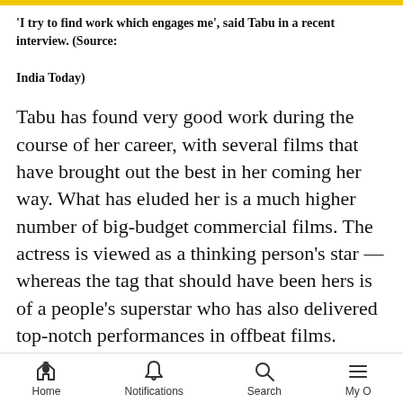'I try to find work which engages me', said Tabu in a recent interview. (Source: India Today)
Tabu has found very good work during the course of her career, with several films that have brought out the best in her coming her way. What has eluded her is a much higher number of big-budget commercial films. The actress is viewed as a thinking person’s star — whereas the tag that should have been hers is of a people’s superstar who has also delivered top-notch performances in offbeat films.
Besides, many diehard commercial films she has acted in have been pretty ordinary. Think DDPD, which is
Home  Notifications  Search  My O